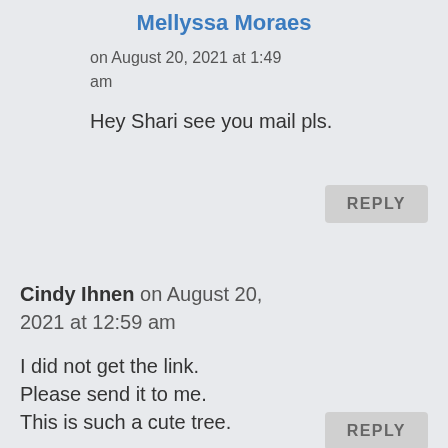Mellyssa Moraes
on August 20, 2021 at 1:49
am
Hey Shari see you mail pls.
REPLY
Cindy Ihnen on August 20, 2021 at 12:59 am
I did not get the link. Please send it to me. This is such a cute tree.
REPLY